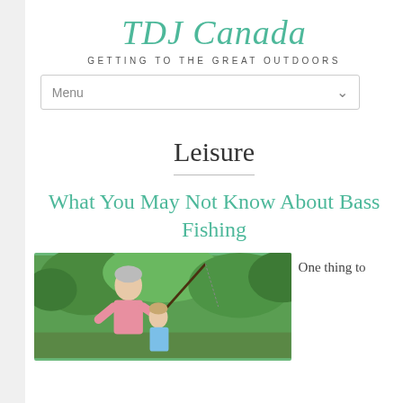TDJ Canada
GETTING TO THE GREAT OUTDOORS
Menu
Leisure
What You May Not Know About Bass Fishing
[Figure (photo): An older man with grey hair wearing a pink polo shirt teaching a young child how to fish, outdoors with green trees in the background.]
One thing to